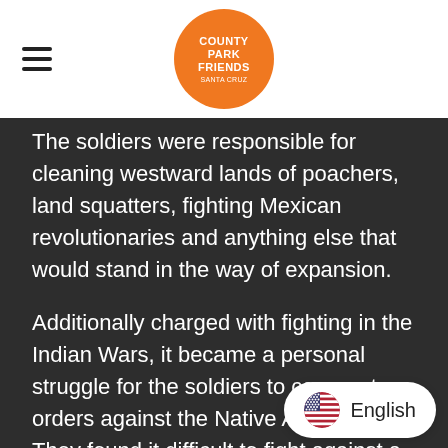County Park Friends Santa Cruz
The soldiers were responsible for clearing westward lands of poachers, land squatters, fighting Mexican revolutionaries and anything else that would stand in the way of expansion.

Additionally charged with fighting in the Indian Wars, it became a personal struggle for the soldiers to carry out orders against the Native Americans. They found it difficult to fight against a people that were being oppressed by the very same government that treated Blacks so poorly, including the soldiers who themselves received rotting food, the poorest uniforms and equip[ment and the worst] horses.
English